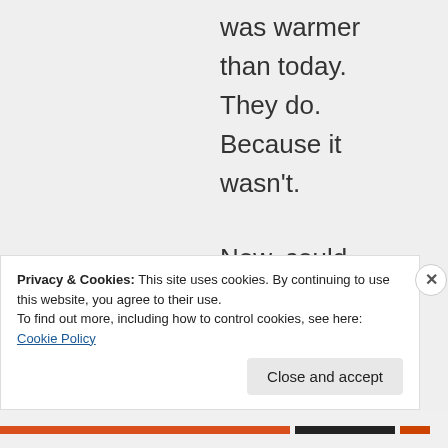was warmer than today. They do. Because it wasn't.

Now, could you explain why a dozen or more different
Privacy & Cookies: This site uses cookies. By continuing to use this website, you agree to their use.
To find out more, including how to control cookies, see here: Cookie Policy